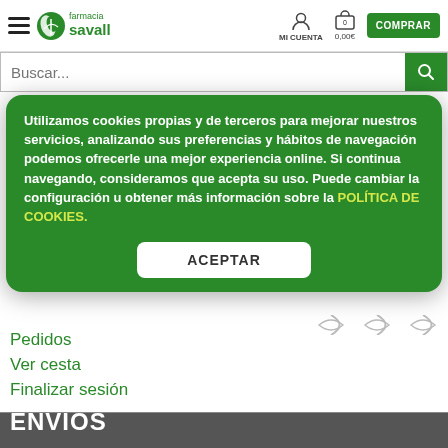[Figure (logo): Farmacia Savall logo with green leaf icon and text]
MI CUENTA
0
0,00€
COMPRAR
Buscar...
Recibir ofertas
Utilizamos cookies propias y de terceros para mejorar nuestros servicios, analizando sus preferencias y hábitos de navegación podemos ofrecerle una mejor experiencia online. Si continua navegando, consideramos que acepta su uso. Puede cambiar la configuración u obtener más información sobre la POLÍTICA DE COOKIES.
ACEPTAR
Pedidos
Ver cesta
Finalizar sesión
ENVÍOS